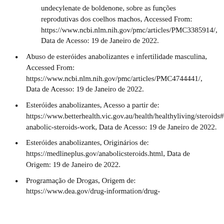undecylenate de boldenone, sobre as funções reprodutivas dos coelhos machos, Accessed From: https://www.ncbi.nlm.nih.gov/pmc/articles/PMC3385914/, Data de Acesso: 19 de Janeiro de 2022.
Abuso de esteróides anabolizantes e infertilidade masculina, Accessed From: https://www.ncbi.nlm.nih.gov/pmc/articles/PMC4744441/, Data de Acesso: 19 de Janeiro de 2022.
Esteróides anabolizantes, Acesso a partir de: https://www.betterhealth.vic.gov.au/health/healthyliving/steroids#how-anabolic-steroids-work, Data de Acesso: 19 de Janeiro de 2022.
Esteróides anabolizantes, Originários de: https://medlineplus.gov/anabolicsteroids.html, Data de Origem: 19 de Janeiro de 2022.
Programação de Drogas, Origem de: https://www.dea.gov/drug-information/drug-